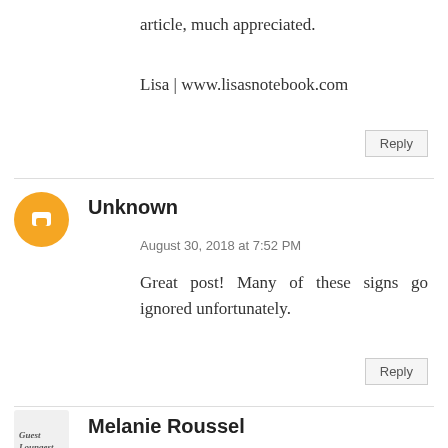article, much appreciated.
Lisa | www.lisasnotebook.com
Reply
Unknown
August 30, 2018 at 7:52 PM
Great post! Many of these signs go ignored unfortunately.
Reply
Melanie Roussel